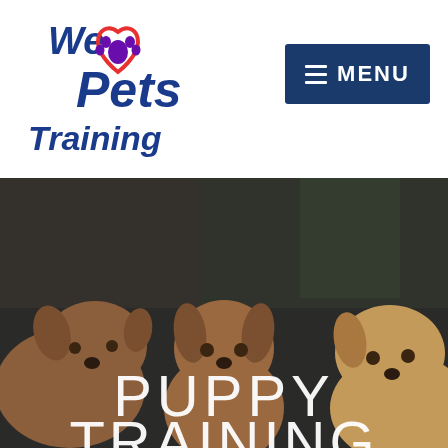[Figure (logo): We Love Pets Training logo with blue text, red heart outline, and purple paw print]
[Figure (other): Blue menu button with hamburger icon and MENU text]
[Figure (photo): Three brown puppies outdoors, blurred background, with overlaid text PUPPY TRAINING]